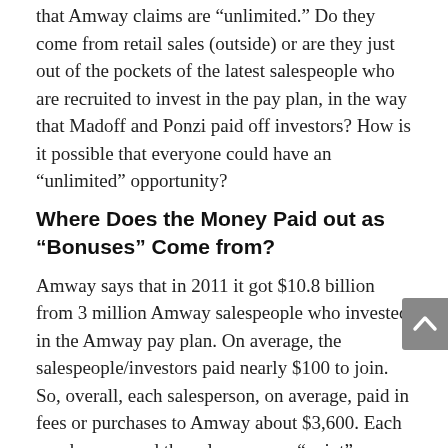that Amway claims are “unlimited.” Do they come from retail sales (outside) or are they just out of the pockets of the latest salespeople who are recruited to invest in the pay plan, in the way that Madoff and Ponzi paid off investors? How is it possible that everyone could have an “unlimited” opportunity?
Where Does the Money Paid out as “Bonuses” Come from?
Amway says that in 2011 it got $10.8 billion from 3 million Amway salespeople who invested in the Amway pay plan. On average, the salespeople/investors paid nearly $100 to join. So, overall, each salesperson, on average, paid in fees or purchases to Amway about $3,600. Each purchase earned the salesperson a “point” on which bonuses would be calculated. All the